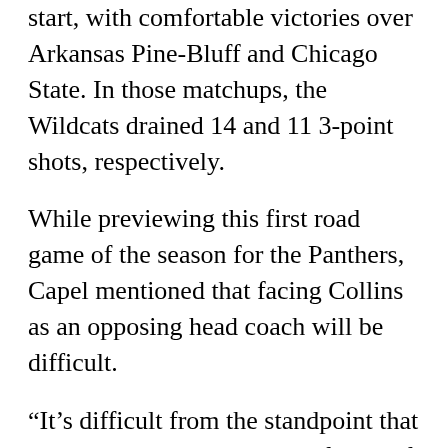start, with comfortable victories over Arkansas Pine-Bluff and Chicago State. In those matchups, the Wildcats drained 14 and 11 3-point shots, respectively.
While previewing this first road game of the season for the Panthers, Capel mentioned that facing Collins as an opposing head coach will be difficult.
“It’s difficult from the standpoint that he’s a very, very, very close friend of mine, Capel said. “Our families are very close, and there is a lot of history. He and I went through some amazing things together when we were teammates. We went through success, but we